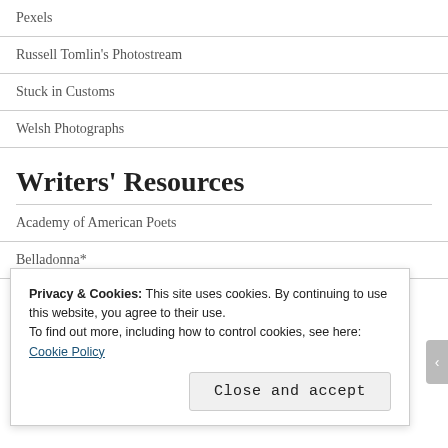Pexels
Russell Tomlin's Photostream
Stuck in Customs
Welsh Photographs
Writers' Resources
Academy of American Poets
Belladonna*
Fawlt Magazine
Privacy & Cookies: This site uses cookies. By continuing to use this website, you agree to their use.
To find out more, including how to control cookies, see here: Cookie Policy
Close and accept